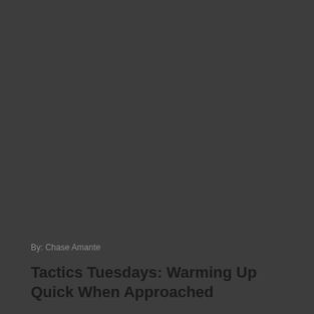By: Chase Amante
Tactics Tuesdays: Warming Up Quick When Approached